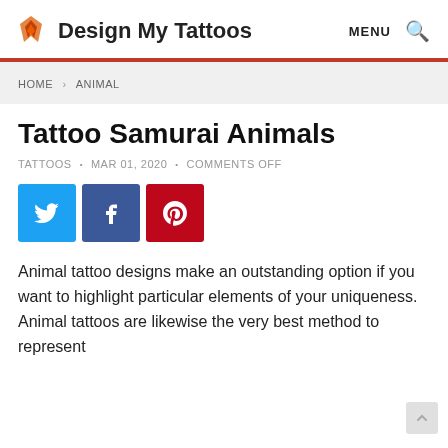Design My Tattoos
HOME > ANIMAL
Tattoo Samurai Animals
TATTOOS • MAR 01, 2020 • COMMENTS OFF
[Figure (infographic): Social share buttons: Twitter (blue), Facebook (dark blue), Pinterest (red)]
Animal tattoo designs make an outstanding option if you want to highlight particular elements of your uniqueness. Animal tattoos are likewise the very best method to represent